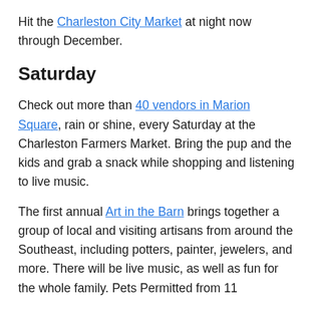Hit the Charleston City Market at night now through December.
Saturday
Check out more than 40 vendors in Marion Square, rain or shine, every Saturday at the Charleston Farmers Market. Bring the pup and the kids and grab a snack while shopping and listening to live music.
The first annual Art in the Barn brings together a group of local and visiting artisans from around the Southeast, including potters, painter, jewelers, and more. There will be live music, as well as fun for the whole family. Pets Permitted from 11